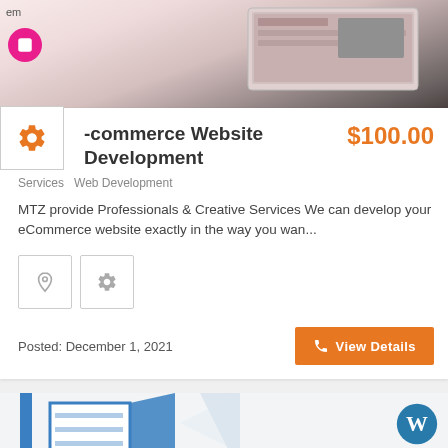[Figure (screenshot): Top portion showing a website screenshot with laptop display, pink circle icon, and text 'em']
e-commerce Website Development  $100.00
Services  Web Development
MTZ provide Professionals & Creative Services We can develop your eCommerce website exactly in the way you wan...
[Figure (infographic): Two square icon buttons: location pin icon and gear/settings icon]
Posted: December 1, 2021
View Details
[Figure (screenshot): Bottom card showing WordPress branding with blue architectural building image and WordPress logo]